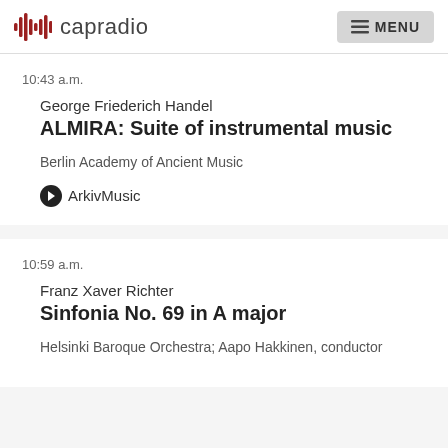capradio  MENU
10:43 a.m.
George Friederich Handel
ALMIRA: Suite of instrumental music
Berlin Academy of Ancient Music
ArkivMusic
10:59 a.m.
Franz Xaver Richter
Sinfonia No. 69 in A major
Helsinki Baroque Orchestra; Aapo Hakkinen, conductor